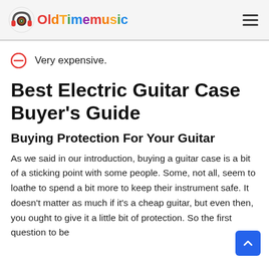OldTimemusic
Very expensive.
Best Electric Guitar Case Buyer's Guide
Buying Protection For Your Guitar
As we said in our introduction, buying a guitar case is a bit of a sticking point with some people. Some, not all, seem to loathe to spend a bit more to keep their instrument safe. It doesn't matter as much if it's a cheap guitar, but even then, you ought to give it a little bit of protection. So the first question to be